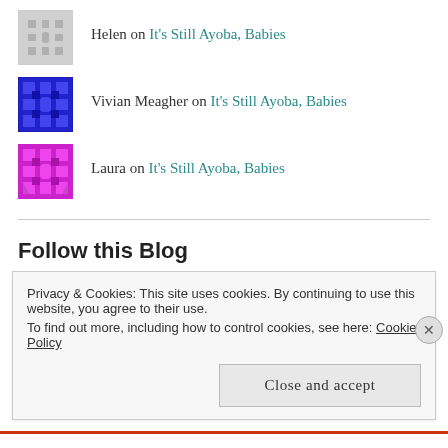Helen on It's Still Ayoba, Babies
Vivian Meagher on It's Still Ayoba, Babies
Laura on It's Still Ayoba, Babies
Follow this Blog
Privacy & Cookies: This site uses cookies. By continuing to use this website, you agree to their use. To find out more, including how to control cookies, see here: Cookie Policy
Close and accept